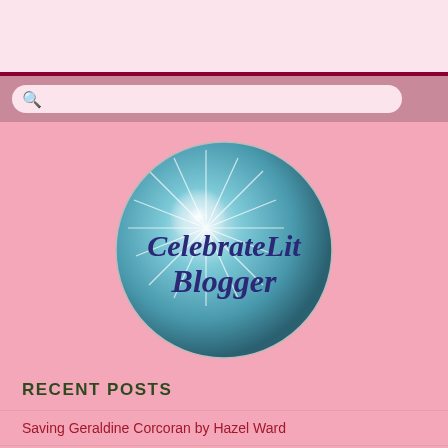[Figure (logo): CelebrateLit Blogger circular logo with teal dandelion/sparkle background and dark blue cursive text]
RECENT POSTS
Saving Geraldine Corcoran by Hazel Ward
Harold The British Bulldog by Monica Ann Fourie